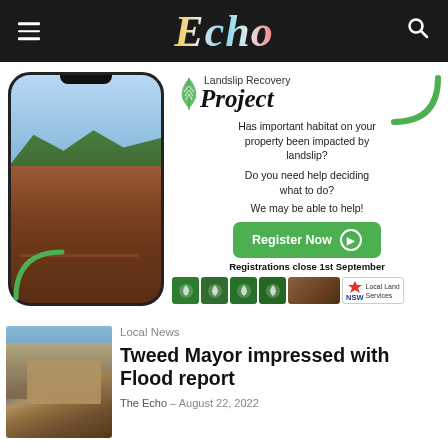Echo
[Figure (infographic): Landslip Recovery Project advertisement showing a phone with landslip photo, leaf graphic, green arc decoration, body text asking about habitat impact, Register Now button, logos row including NSW Local Land Services]
Local News
Tweed Mayor impressed with Flood report
The Echo – August 22, 2022